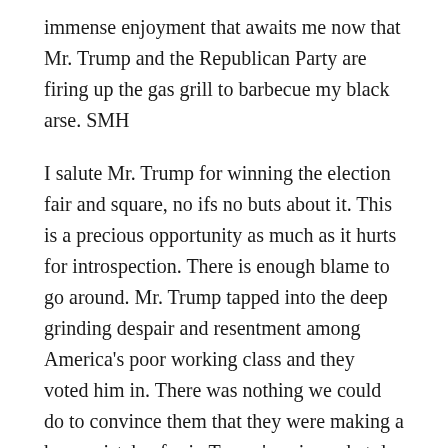immense enjoyment that awaits me now that Mr. Trump and the Republican Party are firing up the gas grill to barbecue my black arse. SMH
I salute Mr. Trump for winning the election fair and square, no ifs no buts about it. This is a precious opportunity as much as it hurts for introspection. There is enough blame to go around. Mr. Trump tapped into the deep grinding despair and resentment among America's poor working class and they voted him in. There was nothing we could do to convince them that they were making a huge mistake, for in Trump's voice, what do they have to lose? In losing, we failed